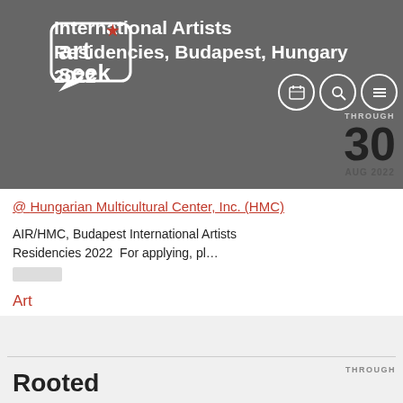artseek logo (header bar background)
International Artists Residencies, Budapest, Hungary 2022
@ Hungarian Multicultural Center, Inc. (HMC)
AIR/HMC, Budapest International Artists Residencies 2022  For applying, pl…
Art
Rooted
@ Dallas Museum of Art